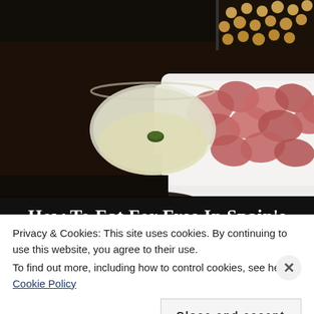[Figure (photo): Photo of a white wine glass and a white rectangular plate with sliced cured ham (jamón) on a dark table, with a tray of round food items (possibly croquetas or chickpeas) visible in the upper background.]
How To Eat For Free In Spain's
Privacy & Cookies: This site uses cookies. By continuing to use this website, you agree to their use. To find out more, including how to control cookies, see here: Cookie Policy
Close and accept
same page is easy. And free.